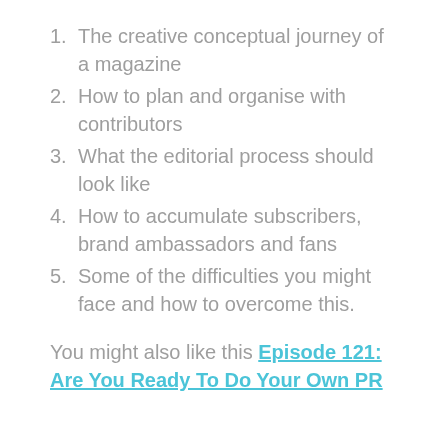1. The creative conceptual journey of a magazine
2. How to plan and organise with contributors
3. What the editorial process should look like
4. How to accumulate subscribers, brand ambassadors and fans
5. Some of the difficulties you might face and how to overcome this.
You might also like this Episode 121: Are You Ready To Do Your Own PR